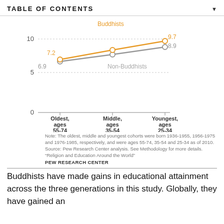TABLE OF CONTENTS
[Figure (line-chart): ]
Note: The oldest, middle and youngest cohorts were born 1936-1955, 1956-1975 and 1976-1985, respectively, and were ages 55-74, 35-54 and 25-34 as of 2010. Source: Pew Research Center analysis. See Methodology for more details. “Religion and Education Around the World”
PEW RESEARCH CENTER
Buddhists have made gains in educational attainment across the three generations in this study. Globally, they have gained an